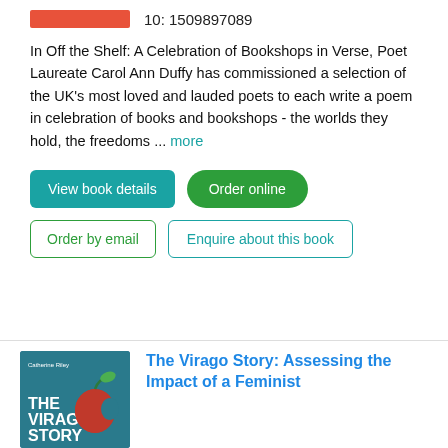[Figure (other): Orange/red rectangular placeholder image strip]
10: 1509897089
In Off the Shelf: A Celebration of Bookshops in Verse, Poet Laureate Carol Ann Duffy has commissioned a selection of the UK’s most loved and lauded poets to each write a poem in celebration of books and bookshops - the worlds they hold, the freedoms ... more
View book details
Order online
Order by email
Enquire about this book
[Figure (illustration): Book cover of 'The Virago Story' by Catherine Riley, featuring a red apple on a teal/blue background]
The Virago Story: Assessing the Impact of a Feminist